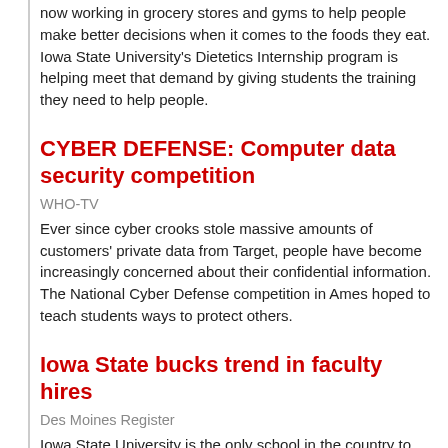now working in grocery stores and gyms to help people make better decisions when it comes to the foods they eat. Iowa State University's Dietetics Internship program is helping meet that demand by giving students the training they need to help people.
CYBER DEFENSE: Computer data security competition
WHO-TV
Ever since cyber crooks stole massive amounts of customers' private data from Target, people have become increasingly concerned about their confidential information. The National Cyber Defense competition in Ames hoped to teach students ways to protect others.
Iowa State bucks trend in faculty hires
Des Moines Register
Iowa State University is the only school in the country to